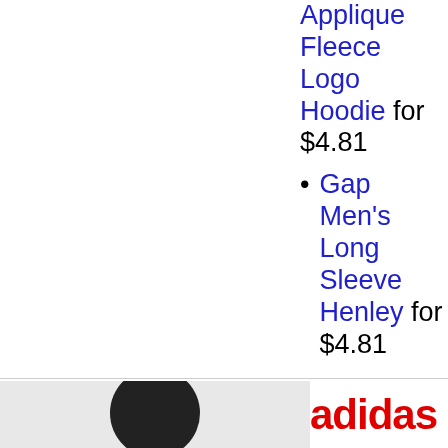Applique Fleece Logo Hoodie for $4.81
Gap Men's Long Sleeve Henley for $4.81
[Figure (photo): Partial photo of a person wearing a dark hat, bottom section of page. Adidas logo text in red visible to the right.]